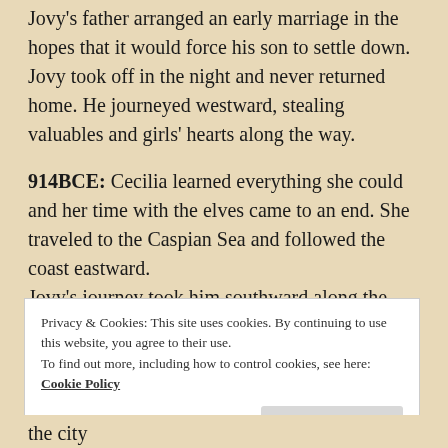Jovy's father arranged an early marriage in the hopes that it would force his son to settle down. Jovy took off in the night and never returned home. He journeyed westward, stealing valuables and girls' hearts along the way.
914BCE: Cecilia learned everything she could and her time with the elves came to an end. She traveled to the Caspian Sea and followed the coast eastward.
Jovy's journey took him southward along the Caspian shore.
Privacy & Cookies: This site uses cookies. By continuing to use this website, you agree to their use.
To find out more, including how to control cookies, see here: Cookie Policy
Close and accept
the city